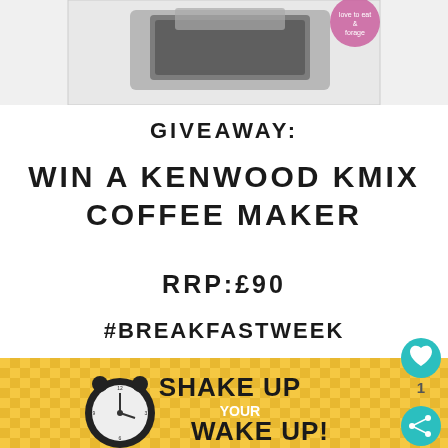[Figure (photo): Top portion showing a Kenwood KMix coffee maker on a white surface, with a circular badge/sticker in the top right corner]
GIVEAWAY:
WIN A KENWOOD KMIX COFFEE MAKER
RRP:£90
#BREAKFASTWEEK
[Figure (illustration): Shake Up Your Wake Up promotional image with a retro alarm clock on a yellow checkered background with bold text reading SHAKE UP YOUR WAKE UP!]
[Figure (other): Teal circular heart/like button with count of 1 and share button below it on the right side]